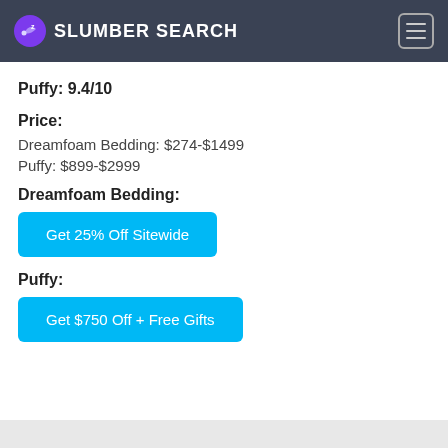SLUMBER SEARCH
Puffy: 9.4/10
Price:
Dreamfoam Bedding: $274-$1499
Puffy: $899-$2999
Dreamfoam Bedding:
Get 25% Off Sitewide
Puffy:
Get $750 Off + Free Gifts